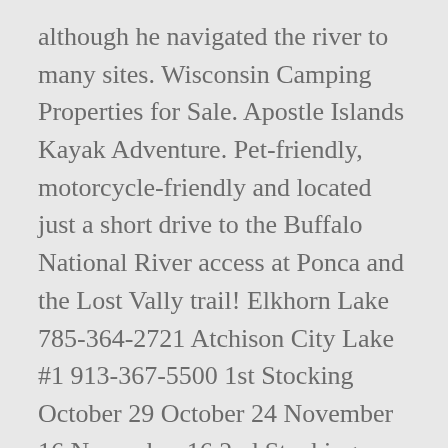although he navigated the river to many sites. Wisconsin Camping Properties for Sale. Apostle Islands Kayak Adventure. Pet-friendly, motorcycle-friendly and located just a short drive to the Buffalo National River access at Ponca and the Lost Vally trail! Elkhorn Lake 785-364-2721 Atchison City Lake #1 913-367-5500 1st Stocking October 29 October 24 November 16 November 16 2nd Stocking Feburary 4 Total Estimated Trout Stocked for 2020-21Season 400 17,000 1,700 2,000 + Often referred to as Big Sky Country, its spectacular, â¦ The Elkhorn Cabin with its secluded mountain-top location offers guests the perfect hideaway from the outside world. This